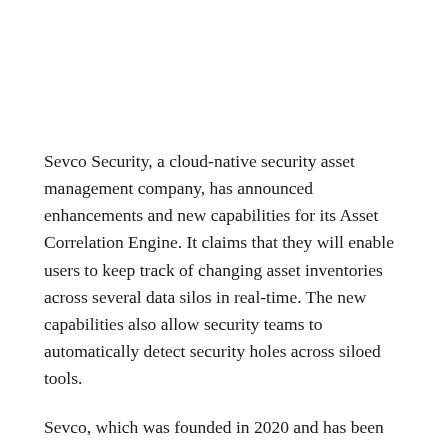Sevco Security, a cloud-native security asset management company, has announced enhancements and new capabilities for its Asset Correlation Engine. It claims that they will enable users to keep track of changing asset inventories across several data silos in real-time. The new capabilities also allow security teams to automatically detect security holes across siloed tools.
Sevco, which was founded in 2020 and has been backed by SYN Ventures, 406 Ventures, Accomplice, and Bill Wood Ventures. The company is a project designed to meet the needs of organizations that require a good IT inventory. It wants to have a uniform inventory that is constantly updated to provide